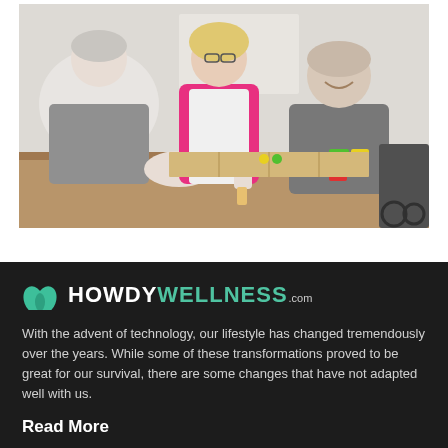[Figure (photo): Elderly people playing a board game at a table. A woman in a pink shirt stands behind them smiling, while two older men sit at the table with colorful game pieces.]
[Figure (logo): HowdyWellness.com logo with teal leaf icons and bold white/teal text on dark background]
With the advent of technology, our lifestyle has changed tremendously over the years. While some of these transformations proved to be great for our survival, there are some changes that have not adapted well with us.
Read More